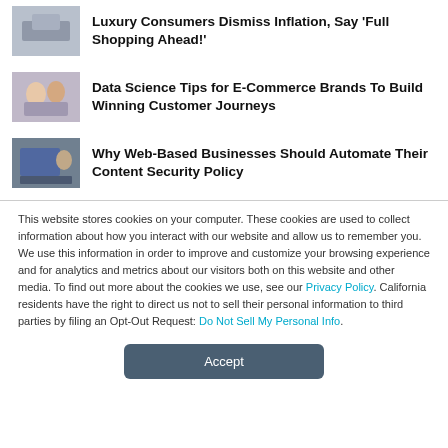Luxury Consumers Dismiss Inflation, Say 'Full Shopping Ahead!'
[Figure (photo): Thumbnail photo of a shopping scene]
Data Science Tips for E-Commerce Brands To Build Winning Customer Journeys
[Figure (photo): Thumbnail photo of two people looking at a tablet]
Why Web-Based Businesses Should Automate Their Content Security Policy
[Figure (photo): Thumbnail photo of a person at a computer]
This website stores cookies on your computer. These cookies are used to collect information about how you interact with our website and allow us to remember you. We use this information in order to improve and customize your browsing experience and for analytics and metrics about our visitors both on this website and other media. To find out more about the cookies we use, see our Privacy Policy. California residents have the right to direct us not to sell their personal information to third parties by filing an Opt-Out Request: Do Not Sell My Personal Info.
Accept